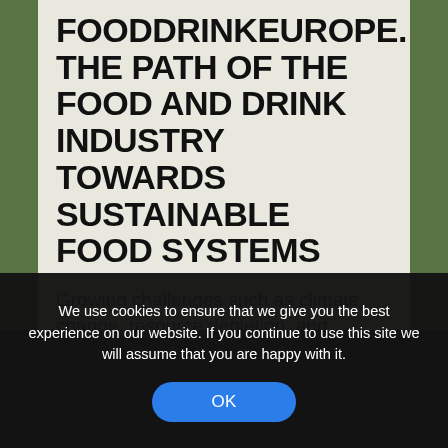FOODDRINKEUROPE. THE PATH OF THE FOOD AND DRINK INDUSTRY TOWARDS SUSTAINABLE FOOD SYSTEMS
Growing challenges such as climate change, resource depletion, and malnutrition are affecting our sector and
We use cookies to ensure that we give you the best experience on our website. If you continue to use this site we will assume that you are happy with it.